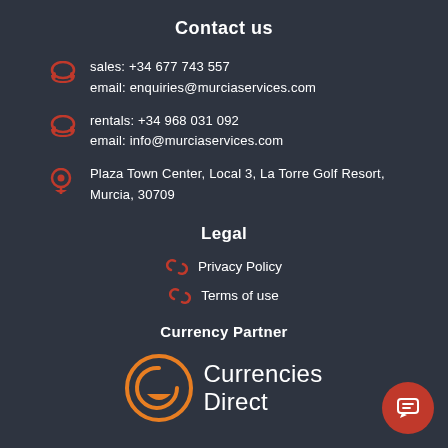Contact us
sales: +34 677 743 557
email: enquiries@murciaservices.com
rentals: +34 968 031 092
email: info@murciaservices.com
Plaza Town Center, Local 3, La Torre Golf Resort, Murcia, 30709
Legal
Privacy Policy
Terms of use
Currency Partner
[Figure (logo): Currencies Direct logo with circular orange C icon and white text]